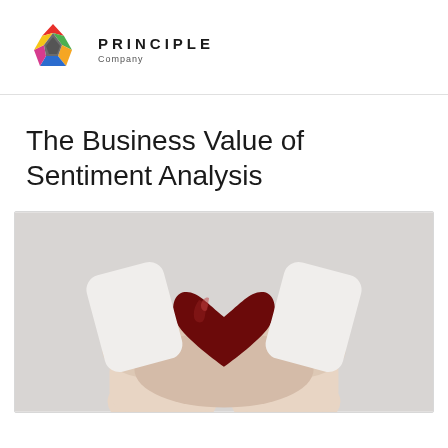PRINCIPLE Company
The Business Value of Sentiment Analysis
[Figure (photo): Two hands cupping a dark red glossy heart-shaped object against a light grey background]